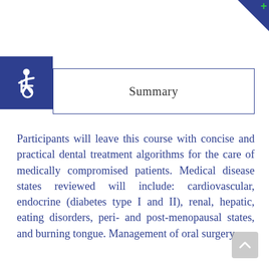[Figure (other): Dark blue triangle corner decoration with a green plus sign in the top-right corner of the page]
[Figure (other): Blue square accessibility icon (wheelchair symbol) in the top-left area]
Summary
Participants will leave this course with concise and practical dental treatment algorithms for the care of medically compromised patients. Medical disease states reviewed will include: cardiovascular, endocrine (diabetes type I and II), renal, hepatic, eating disorders, peri- and post-menopausal states, and burning tongue. Management of oral surgery